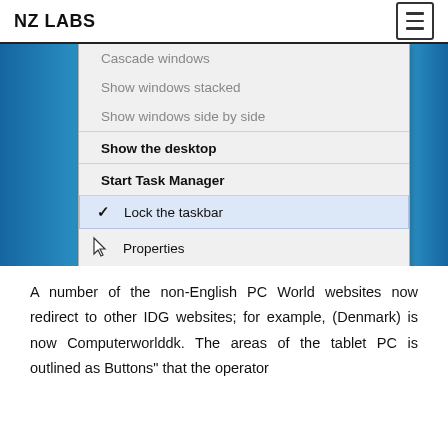NZ LABS
[Figure (screenshot): Windows 7 taskbar right-click context menu showing options: Cascade windows, Show windows stacked, Show windows side by side, Show the desktop, Start Task Manager, Lock the taskbar (checked/highlighted), Properties. A mouse cursor is hovering near Properties.]
A number of the non-English PC World websites now redirect to other IDG websites; for example, (Denmark) is now Computerworlddk. The areas of the tablet PC is outlined as Buttons" that the operator